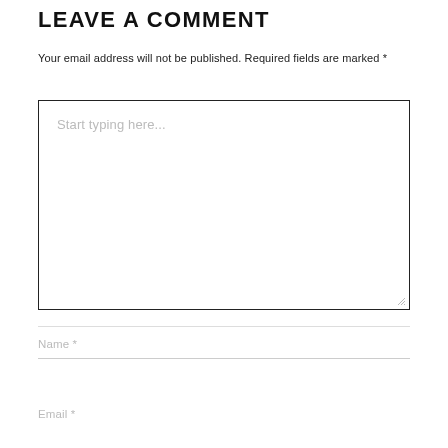LEAVE A COMMENT
Your email address will not be published. Required fields are marked *
[Figure (other): Large text input textarea with placeholder text 'Start typing here...' and a resize handle in the bottom-right corner]
Name *
Email *